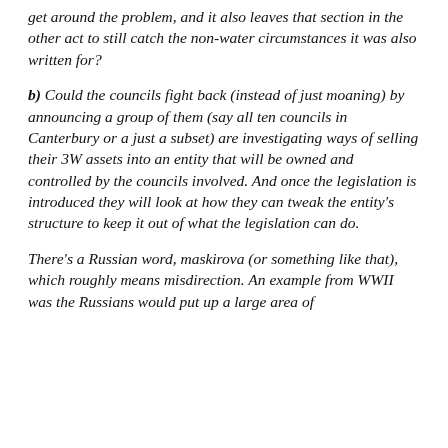get around the problem, and it also leaves that section in the other act to still catch the non-water circumstances it was also written for?
b) Could the councils fight back (instead of just moaning) by announcing a group of them (say all ten councils in Canterbury or a just a subset) are investigating ways of selling their 3W assets into an entity that will be owned and controlled by the councils involved. And once the legislation is introduced they will look at how they can tweak the entity's structure to keep it out of what the legislation can do.
There's a Russian word, maskirova (or something like that), which roughly means misdirection. An example from WWII was the Russians would put up a large area of